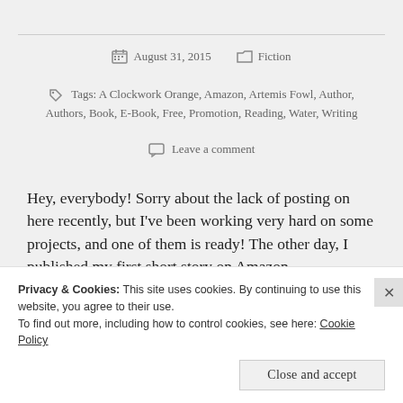August 31, 2015   Fiction
Tags: A Clockwork Orange, Amazon, Artemis Fowl, Author, Authors, Book, E-Book, Free, Promotion, Reading, Water, Writing
Leave a comment
Hey, everybody! Sorry about the lack of posting on here recently, but I've been working very hard on some projects, and one of them is ready! The other day, I published my first short story on Amazon.
Privacy & Cookies: This site uses cookies. By continuing to use this website, you agree to their use. To find out more, including how to control cookies, see here: Cookie Policy
Close and accept